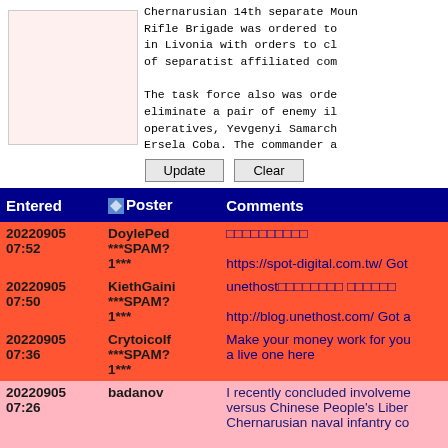Chernarusian 14th Separate Mountain Rifle Brigade was ordered to deploy in Livonia with orders to clear it of separatist affiliated com...

The task force also was ordered to eliminate a pair of enemy intelligence operatives, Yevgenyi Samarch... and Ersela Coba. The commander a...
| Entered | Poster | Comments |
| --- | --- | --- |
| 20220905 07:52 | DoylePed ***SPAM? 1*** | □□□□□□□□□□
https://spot-digital.com.tw/ Got |
| 20220905 07:50 | KiethGaini ***SPAM? 1*** | unethost□□□□□□□□ □□□□□□
http://blog.unethost.com/ Got a |
| 20220905 07:36 | CrytoicoIf ***SPAM? 1*** | Make your money work for you... a live one here |
| 20220905 07:26 | badanov | I recently concluded involvement versus Chinese People's Liberation... Chernarusian naval infantry co...

Also I took on the role as a NA... |